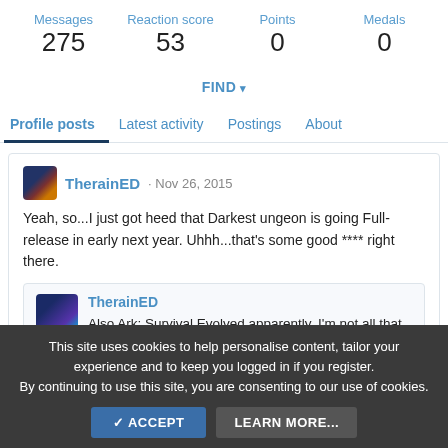| Messages | Reaction score | Points | Medals |
| --- | --- | --- | --- |
| 275 | 53 | 0 | 0 |
FIND
Profile posts | Latest activity | Postings | About
TherainED · Nov 26, 2015
Yeah, so...I just got heed that Darkest ungeon is going Full-release in early next year. Uhhh...that's some good **** right there.
TherainED
Also Ark: Survival Evolved apparently. I'm not all that interested on that one, but...holy hell, Early Access
This site uses cookies to help personalise content, tailor your experience and to keep you logged in if you register.
By continuing to use this site, you are consenting to our use of cookies.